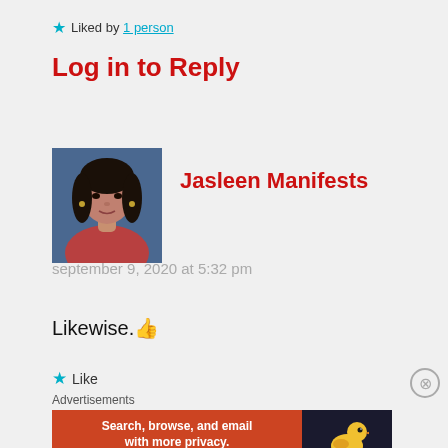★ Liked by 1 person
Log in to Reply
[Figure (photo): Profile photo of Jasleen Manifests, a woman with dark hair]
Jasleen Manifests
september 9, 2020 at 5:32 pm
Likewise. 👍
★ Like
Advertisements
[Figure (screenshot): DuckDuckGo advertisement banner: Search, browse, and email with more privacy. All in One Free App]